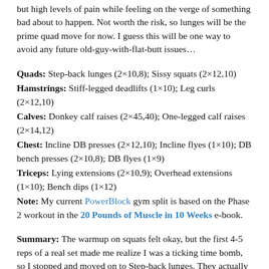but high levels of pain while feeling on the verge of something bad about to happen. Not worth the risk, so lunges will be the prime quad move for now. I guess this will be one way to avoid any future old-guy-with-flat-butt issues…
Quads: Step-back lunges (2×10,8); Sissy squats (2×12,10)
Hamstrings: Stiff-legged deadlifts (1×10); Leg curls (2×12,10)
Calves: Donkey calf raises (2×45,40); One-legged calf raises (2×14,12)
Chest: Incline DB presses (2×12,10); Incline flyes (1×10); DB bench presses (2×10,8); DB flyes (1×9)
Triceps: Lying extensions (2×10,9); Overhead extensions (1×10); Bench dips (1×12)
Note: My current PowerBlock gym split is based on the Phase 2 workout in the 20 Pounds of Muscle in 10 Weeks e-book.
Summary: The warmup on squats felt okay, but the first 4-5 reps of a real set made me realize I was a ticking time bomb, so I stopped and moved on to Step-back lunges. They actually felt great for quads and glutes, with zero lo-back pain. They take twice as long because of doing alternate legs for each rep, but